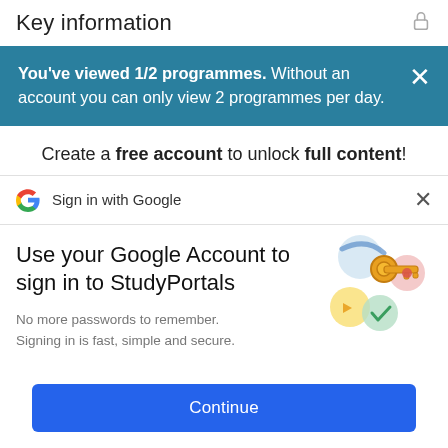Key information
You've viewed 1/2 programmes. Without an account you can only view 2 programmes per day.
Create a free account to unlock full content!
Sign in with Google
Use your Google Account to sign in to StudyPortals
No more passwords to remember. Signing in is fast, simple and secure.
[Figure (illustration): Colorful illustration of a golden key with circular abstract shapes in blue, yellow, green, and pink/red, representing Google account sign-in security.]
Continue